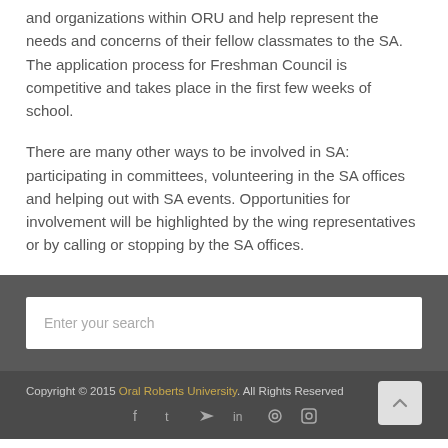and organizations within ORU and help represent the needs and concerns of their fellow classmates to the SA. The application process for Freshman Council is competitive and takes place in the first few weeks of school.
There are many other ways to be involved in SA: participating in committees, volunteering in the SA offices and helping out with SA events. Opportunities for involvement will be highlighted by the wing representatives or by calling or stopping by the SA offices.
Enter your search
Copyright © 2015 Oral Roberts University. All Rights Reserved